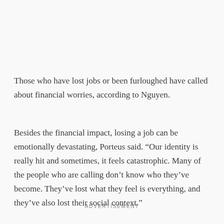Those who have lost jobs or been furloughed have called about financial worries, according to Nguyen.
Besides the financial impact, losing a job can be emotionally devastating, Porteus said. “Our identity is really hit and sometimes, it feels catastrophic. Many of the people who are calling don’t know who they’ve become. They’ve lost what they feel is everything, and they’ve also lost their social context.”
ADVERTISEMENT